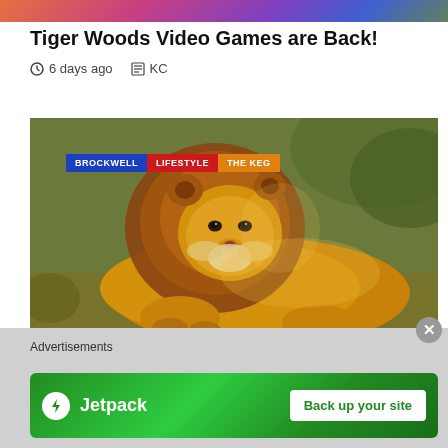[Figure (photo): Top colorful image strip (partial, cropped at top of page)]
Tiger Woods Video Games are Back!
6 days ago  KC
[Figure (photo): Photo of a lion resting, with tag badges BROCKWELL, LIFESTYLE, THE KEG overlaid in the top-left corner]
Advertisements
[Figure (other): Jetpack advertisement banner with logo and 'Back up your site' button on green background]